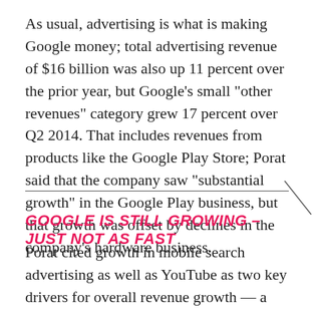As usual, advertising is what is making Google money; total advertising revenue of $16 billion was also up 11 percent over the prior year, but Google's small "other revenues" category grew 17 percent over Q2 2014. That includes revenues from products like the Google Play Store; Porat said that the company saw "substantial growth" in the Google Play business, but that growth was offset by declines in the company's hardware business.
GOOGLE IS STILL GROWING – JUST NOT AS FAST
Porat cited growth in mobile search advertising as well as YouTube as two key drivers for overall revenue growth — a message similar to what Google cited as important factors going forward last